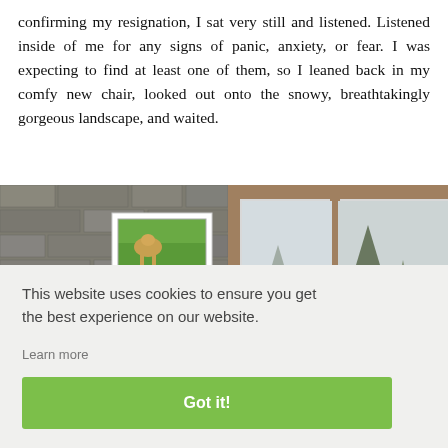confirming my resignation, I sat very still and listened. Listened inside of me for any signs of panic, anxiety, or fear. I was expecting to find at least one of them, so I leaned back in my comfy new chair, looked out onto the snowy, breathtakingly gorgeous landscape, and waited.
[Figure (photo): A composite photo showing a fireplace mantle with a framed picture of a horse in a field, Christmas greenery decorations, a wooden mantle shelf, on a stone wall background on the left side; and a snowy outdoor landscape viewed through large windows on the right side.]
This website uses cookies to ensure you get the best experience on our website.
Learn more
Got it!